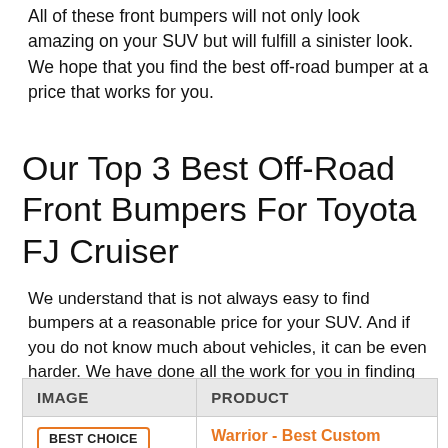All of these front bumpers will not only look amazing on your SUV but will fulfill a sinister look. We hope that you find the best off-road bumper at a price that works for you.
Our Top 3 Best Off-Road Front Bumpers For Toyota FJ Cruiser
We understand that is not always easy to find bumpers at a reasonable price for your SUV. And if you do not know much about vehicles, it can be even harder. We have done all the work for you in finding the top 3 best off-road front bumpers for your Toyota FJ Cruiser.
| IMAGE | PRODUCT |
| --- | --- |
| BEST CHOICE | Warrior - Best Custom |